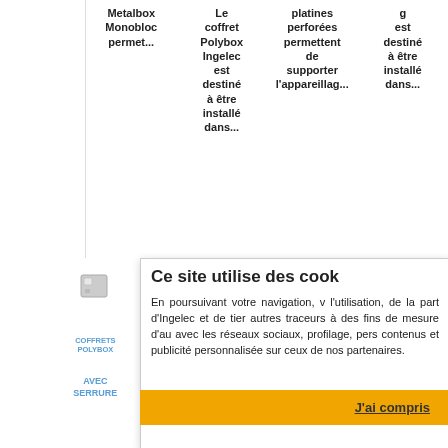Metalbox Monobloc permet...
Le coffret Polybox Ingelec est destiné à être installé dans...
platines perforées permettent de supporter l'appareillag...
g est destiné à être installé dans...
Ce site utilise des cook
En poursuivant votre navigation, v l'utilisation, de la part d'Ingelec et de tier autres traceurs à des fins de mesure d'au avec les réseaux sociaux, profilage, pers contenus et publicité personnalisée sur ceux de nos partenaires.
COFFRETS POLYBOX   COFFRETS POLYBOX   COFFRETS MÉTALLIQUES   SERRURE BONIS
AVEC SERRURE
Le coffret
Les Coffrets Métall...
serrure
J'ai compris